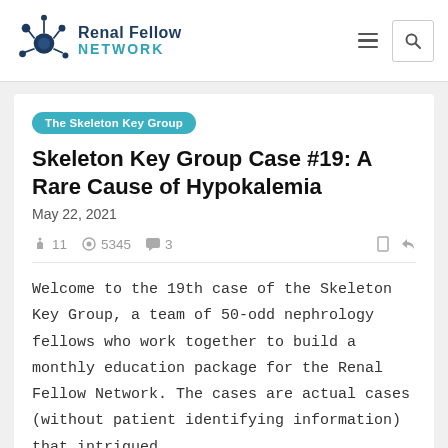Renal Fellow Network
The Skeleton Key Group
Skeleton Key Group Case #19: A Rare Cause of Hypokalemia
May 22, 2021
11  5345  3
Welcome to the 19th case of the Skeleton Key Group, a team of 50-odd nephrology fellows who work together to build a monthly education package for the Renal Fellow Network. The cases are actual cases (without patient identifying information) that intrigued